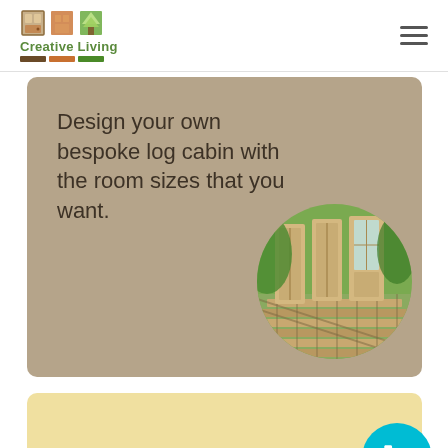[Figure (logo): Creative Living logo with house/tree icons and colored bars]
[Figure (photo): Log cabin components laid out on grass with wooden panels and frame base, shown in circular crop]
Design your own bespoke log cabin with the room sizes that you want.
Optional Extras